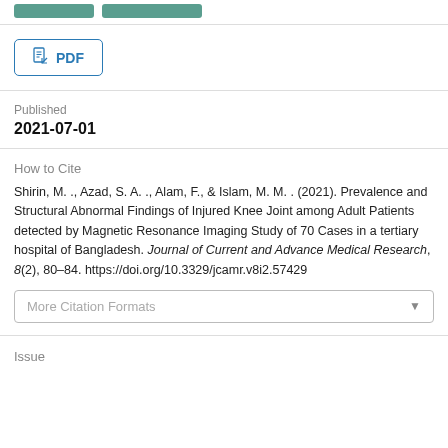[Figure (other): Two green button/badge elements at top of page]
PDF
Published
2021-07-01
How to Cite
Shirin, M. ., Azad, S. A. ., Alam, F., & Islam, M. M. . (2021). Prevalence and Structural Abnormal Findings of Injured Knee Joint among Adult Patients detected by Magnetic Resonance Imaging Study of 70 Cases in a tertiary hospital of Bangladesh. Journal of Current and Advance Medical Research, 8(2), 80–84. https://doi.org/10.3329/jcamr.v8i2.57429
More Citation Formats
Issue